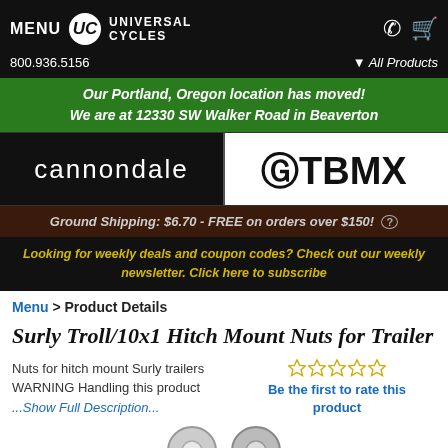MENU  UC UNIVERSAL CYCLES  800.936.5156  All Products
Our Portland, Oregon location has moved! We are at 12330 SW Walker Road in Beaverton
[Figure (logo): Cannondale logo on black background (left) and GT BMX logo on white background (right)]
Ground Shipping: $6.70 - FREE on orders over $150! (?)
Looking for weekly deals and coupon codes? Check out our weekly newsletter. Click here to subscribe
Menu > Product Details
Surly Troll/10x1 Hitch Mount Nuts for Trailer
Nuts for hitch mount Surly trailers WARNING Handling this product ...Show Full Description...
Be the first to rate this product
[Figure (photo): Two silver hex nuts shown partially at bottom of page]